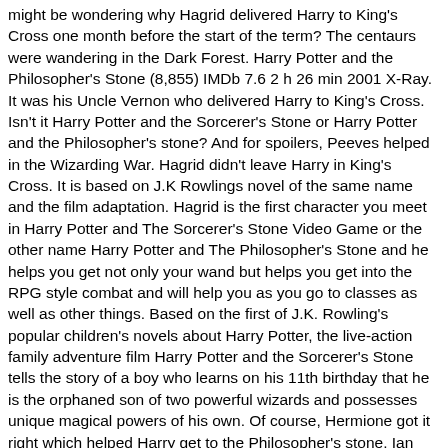might be wondering why Hagrid delivered Harry to King's Cross one month before the start of the term? The centaurs were wandering in the Dark Forest. Harry Potter and the Philosopher's Stone (8,855) IMDb 7.6 2 h 26 min 2001 X-Ray. It was his Uncle Vernon who delivered Harry to King's Cross. Isn't it Harry Potter and the Sorcerer's Stone or Harry Potter and the Philosopher's stone? And for spoilers, Peeves helped in the Wizarding War. Hagrid didn't leave Harry in King's Cross. It is based on J.K Rowlings novel of the same name and the film adaptation. Hagrid is the first character you meet in Harry Potter and The Sorcerer's Stone Video Game or the other name Harry Potter and The Philosopher's Stone and he helps you get not only your wand but helps you get into the RPG style combat and will help you as you go to classes as well as other things. Based on the first of J.K. Rowling's popular children's novels about Harry Potter, the live-action family adventure film Harry Potter and the Sorcerer's Stone tells the story of a boy who learns on his 11th birthday that he is the orphaned son of two powerful wizards and possesses unique magical powers of his own. Of course, Hermione got it right which helped Harry get to the Philosopher's stone. Ian McNeice was considered for the role of Vernon. Ensure you attend your lessons to become skilled at magic spells as you study to become a wizard. Richard Griffiths as Vernon Dursley.